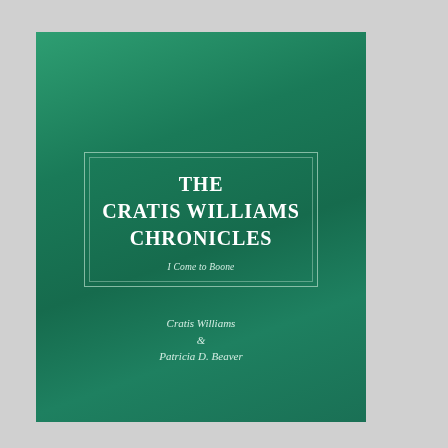THE CRATIS WILLIAMS CHRONICLES
I Come to Boone
Cratis Williams & Patricia D. Beaver